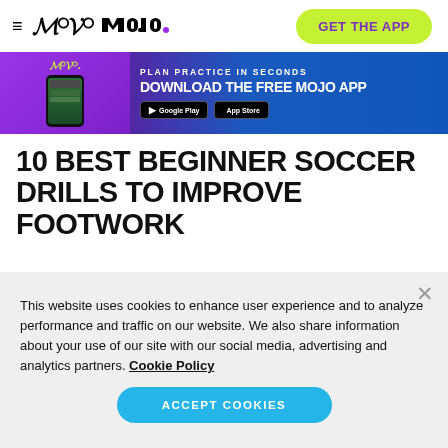MOJO. | GET THE APP
[Figure (infographic): MOJO app advertisement banner: purple/blue gradient background with MOJO logo, phone graphic, text 'PLAN PRACTICE IN SECONDS DOWNLOAD THE FREE MOJO APP' and Google Play / App Store badges]
10 BEST BEGINNER SOCCER DRILLS TO IMPROVE FOOTWORK
This website uses cookies to enhance user experience and to analyze performance and traffic on our website. We also share information about your use of our site with our social media, advertising and analytics partners. Cookie Policy
ACCEPT COOKIES